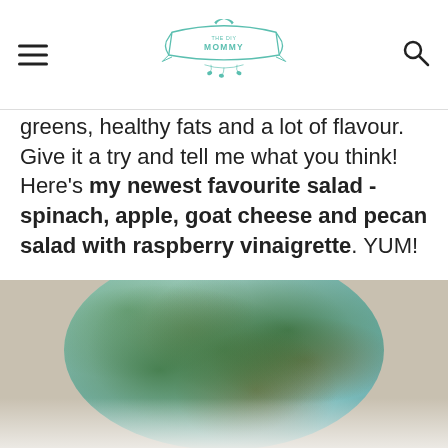The DIY Mommy
greens, healthy fats and a lot of flavour. Give it a try and tell me what you think! Here's my newest favourite salad - spinach, apple, goat cheese and pecan salad with raspberry vinaigrette. YUM!
[Figure (photo): A light blue bowl filled with spinach salad containing apple pieces, crumbled goat cheese, pecan nuts, and leafy greens, photographed from above on a rustic wood surface.]